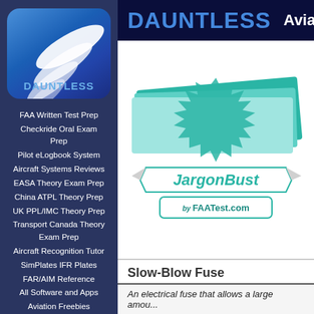[Figure (logo): Dauntless Aviation logo with wing graphic and DAUNTLESS text on blue rounded square]
FAA Written Test Prep
Checkride Oral Exam Prep
Pilot eLogbook System
Aircraft Systems Reviews
EASA Theory Exam Prep
China ATPL Theory Prep
UK PPL/IMC Theory Prep
Transport Canada Theory Exam Prep
Aircraft Recognition Tutor
SimPlates IFR Plates
FAR/AIM Reference
All Software and Apps
Aviation Freebies
DAUNTLESS   Aviation
[Figure (logo): JargonBuster by FAATest.com logo with teal starburst and ribbon banner]
Slow-Blow Fuse
An electrical fuse that allows a large amou...